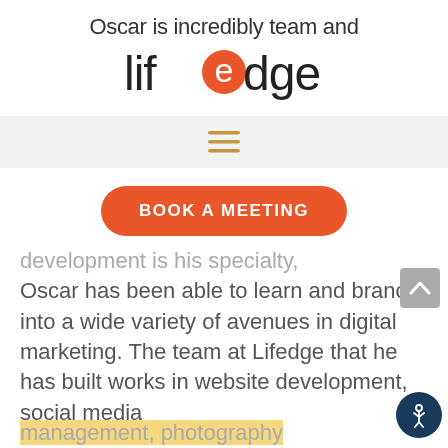Oscar is incredibly team and
[Figure (logo): Lifedge logo with orange circle replacing the 'e' in 'life']
[Figure (other): Hamburger menu icon with three horizontal orange lines on a light gray navigation bar]
[Figure (other): Orange rounded button with white uppercase text 'BOOK A MEETING']
development is his specialty, Oscar has been able to learn and branch into a wide variety of avenues in digital marketing. The team at Lifedge that he has built works in website development, social media management, photography